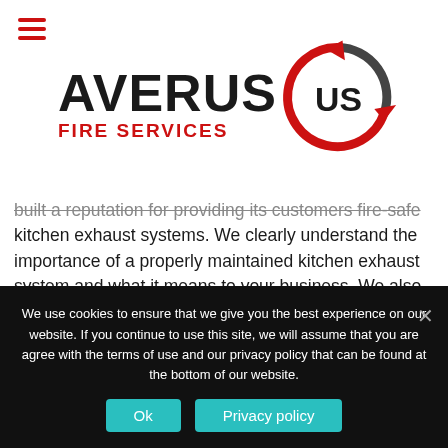[Figure (logo): Averus Fire Services logo with hamburger menu icon, bold AVERUS text in dark/charcoal, red FIRE SERVICES subtitle, and circular red arrow icon with US enclosed]
built a reputation for providing its customers fire-safe kitchen exhaust systems. We clearly understand the importance of a properly maintained kitchen exhaust system and what it means to your business. We also help make sure you're always in compliance with the latest industry codes and regulations.
We use cookies to ensure that we give you the best experience on our website. If you continue to use this site, we will assume that you are agree with the terms of use and our privacy policy that can be found at the bottom of our website.